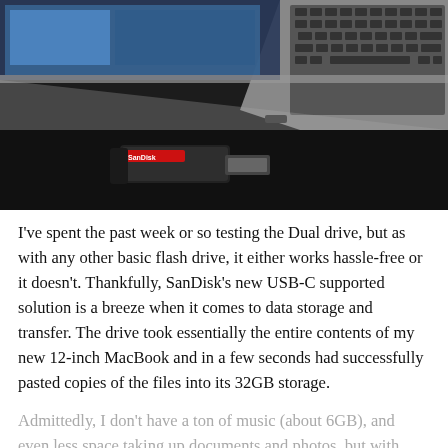[Figure (photo): A SanDisk USB-C dual drive flash drive plugged into the USB-C port of a silver MacBook laptop, resting on a dark surface. The laptop keyboard is visible in the background with backlit keys.]
I've spent the past week or so testing the Dual drive, but as with any other basic flash drive, it either works hassle-free or it doesn't. Thankfully, SanDisk's new USB-C supported solution is a breeze when it comes to data storage and transfer. The drive took essentially the entire contents of my new 12-inch MacBook and in a few seconds had successfully pasted copies of the files into its 32GB storage.
Admittedly, I don't have a ton of music (about 6GB), and even less space taking up documents and photos, but with many of